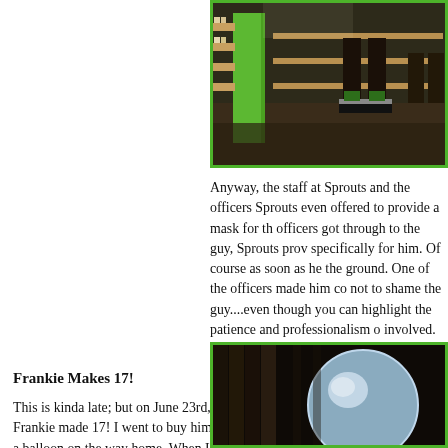[Figure (photo): Photo taken inside a store (Sprouts), showing a person's legs/feet near shelving with a green display fixture. Dark floor visible.]
Anyway, the staff at Sprouts and the officers Sprouts even offered to provide a mask for th officers got through to the guy, Sprouts prov specifically for him. Of course as soon as he the ground. One of the officers made him co not to shame the guy....even though you can highlight the patience and professionalism o involved.
Frankie Makes 17!
This is kinda late; but on June 23rd, Frankie made 17! I went to buy him a balloon on the way home. When I chose the balloon, the folks asked me if I
[Figure (photo): Photo of what appears to be a balloon or round glass object on a dark background with shelving visible.]